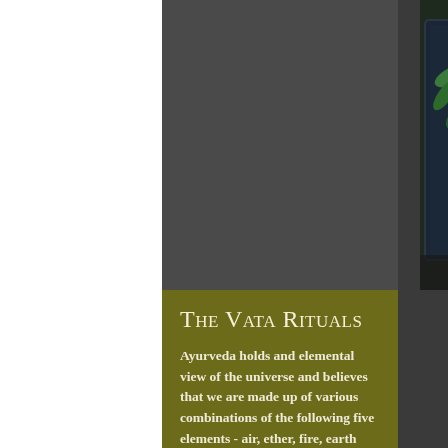[Figure (photo): Overhead photo of herbs (mint leaves), a lemon, ginger root, and a white ceramic cup on a dark blue tray with text. Background is dark with a blurred wooden surface visible on the right side.]
The Vata Rituals
Ayurveda holds and elemental view of the universe and believes that we are made up of various combinations of the following five elements - air, ether, fire, earth and water. The combination of these elements form the three doshas: Vata, Pitta and Kapha and we tend to have a dominance in one particular dosha. The elements that make up